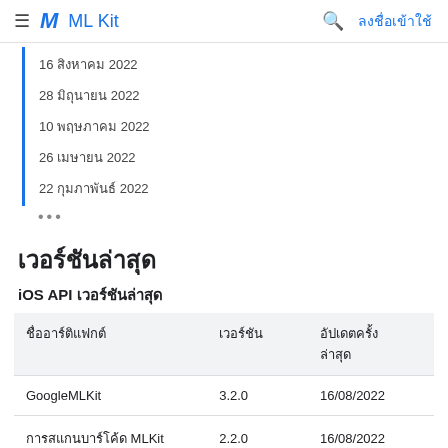ML Kit — ลงชื่อเข้าใช้
16 สิงหาคม 2022
28 มิถุนายน 2022
10 พฤษภาคม 2022
26 เมษายน 2022
22 กุมภาพันธ์ 2022
•••
เวอร์ชันล่าสุด
iOS API เวอร์ชันล่าสุด
| ชื่ออาร์ติแฟกต์ | เวอร์ชัน | อัปเดตครั้งล่าสุด |
| --- | --- | --- |
| GoogleMLKit | 3.2.0 | 16/08/2022 |
| การสแกนบาร์โค้ด MLKit | 2.2.0 | 16/08/2022 |
| MLKit ทั่วไป | 8.0.0 | 16/08/2022 |